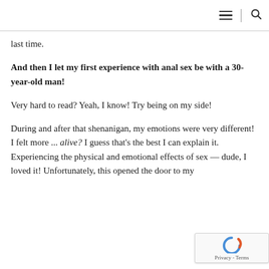≡ | 🔍
last time.
And then I let my first experience with anal sex be with a 30-year-old man!
Very hard to read? Yeah, I know! Try being on my side!
During and after that shenanigan, my emotions were very different! I felt more ... alive? I guess that's the best I can explain it. Experiencing the physical and emotional effects of sex — dude, I loved it! Unfortunately, this opened the door to my